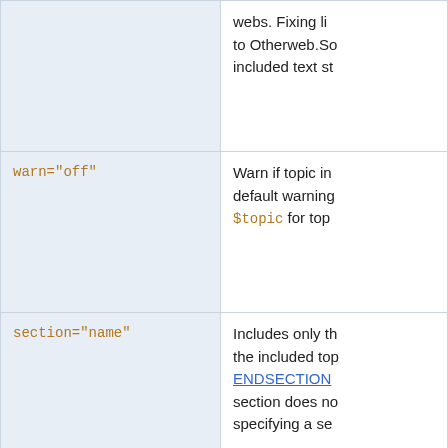| Parameter | Description |
| --- | --- |
| (continuation) | webs. Fixing li... to Otherweb.Sc... included text st... |
| warn="off" | Warn if topic inc... default warning... $topic for top... |
| section="name" | Includes only th... the included top... ENDSECTION... section does no... specifying a se... |
| PARAMONE="val 1"
PARAMTWO="val 2" | Any other para... the scope of the... on the left will r... being defined w... a variable can b... corresponding p... %PARAMONE{... |